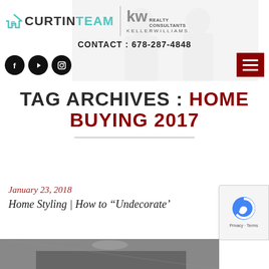[Figure (logo): Curtin Team logo with house/C icon in teal, text CURTINTEAM, vertical divider, KW Realty Consultants Keller Williams logo]
CONTACT : 678-287-4848
[Figure (infographic): Three social media icons (Facebook, YouTube, Instagram) in black circles]
[Figure (photo): Faded/ghosted background photo of two people]
[Figure (infographic): Hamburger menu button in dark red/maroon]
TAG ARCHIVES : HOME BUYING 2017
January 23, 2018
Home Styling | How to “Undecorate’